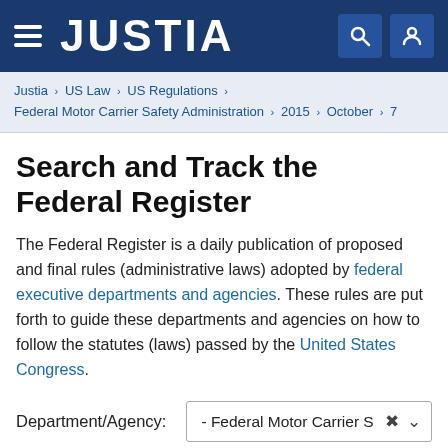JUSTIA
Justia › US Law › US Regulations › Federal Motor Carrier Safety Administration › 2015 › October › 7
Search and Track the Federal Register
The Federal Register is a daily publication of proposed and final rules (administrative laws) adopted by federal executive departments and agencies. These rules are put forth to guide these departments and agencies on how to follow the statutes (laws) passed by the United States Congress.
Department/Agency: - Federal Motor Carrier S